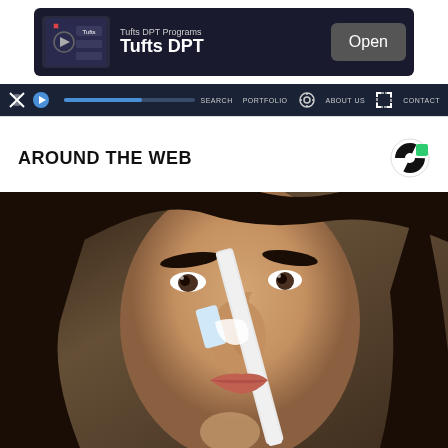[Figure (screenshot): Advertisement banner for Tufts DPT Programs with dark background, logo image, text 'Tufts DPT Programs / Tufts DPT' and an 'Open' button]
[Figure (screenshot): Website navigation bar with dark blue background, mute icon, play button, progress bar, settings gear icon, expand icon, and nav links SEARCH, PORTFOLIO, ABOUT US, CONTACT]
AROUND THE WEB
[Figure (photo): Close-up photo of a young woman with long dark hair applying something to her nose with a brush or strip, possibly a nose strip or pore strip beauty treatment]